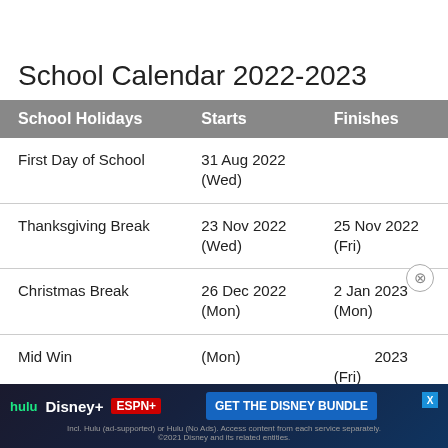School Calendar 2022-2023
| School Holidays | Starts | Finishes |
| --- | --- | --- |
| First Day of School | 31 Aug 2022 (Wed) |  |
| Thanksgiving Break | 23 Nov 2022 (Wed) | 25 Nov 2022 (Fri) |
| Christmas Break | 26 Dec 2022 (Mon) | 2 Jan 2023 (Mon) |
| Mid Winter Break | (Mon) | 2023 (Fri) |
[Figure (other): Advertisement banner for Disney Bundle featuring Hulu, Disney+, and ESPN+]